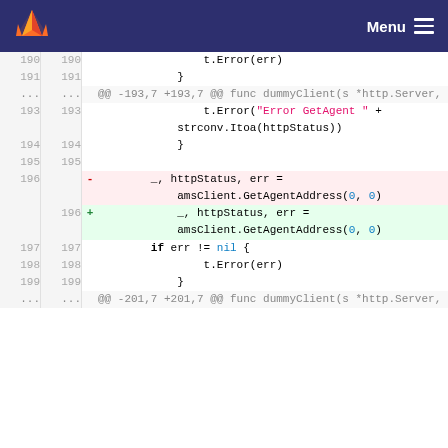GitLab Menu
[Figure (screenshot): Code diff view showing Go source code lines 190-199 and hunk headers. Line 196 is removed (red background) and replaced with line 196 added (green background). The diff shows changes to amsClient.GetAgentAddress(0, 0) call.]